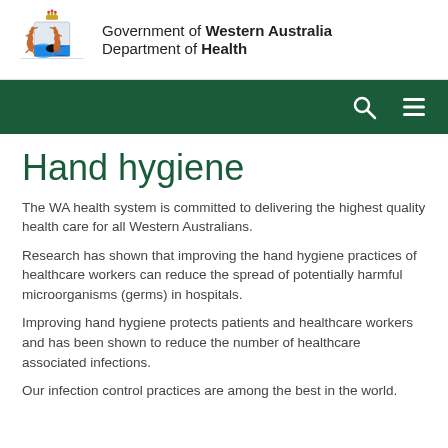[Figure (logo): Government of Western Australia Department of Health logo with state coat of arms crest and text]
[Figure (other): Dark green navigation bar with search icon and menu icon on the right]
Hand hygiene
The WA health system is committed to delivering the highest quality health care for all Western Australians.
Research has shown that improving the hand hygiene practices of healthcare workers can reduce the spread of potentially harmful microorganisms (germs) in hospitals.
Improving hand hygiene protects patients and healthcare workers and has been shown to reduce the number of healthcare associated infections.
Our infection control practices are among the best in the world.